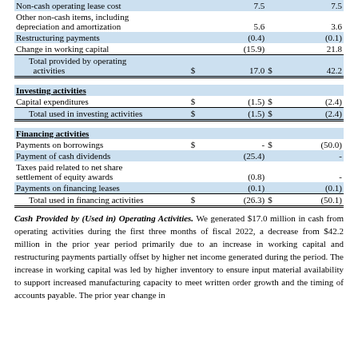|  | $ | Value1 | $ | Value2 |
| --- | --- | --- | --- | --- |
| Non-cash operating lease cost |  | 7.5 |  | 7.5 |
| Other non-cash items, including depreciation and amortization |  | 5.6 |  | 3.6 |
| Restructuring payments |  | (0.4) |  | (0.1) |
| Change in working capital |  | (15.9) |  | 21.8 |
| Total provided by operating activities | $ | 17.0 | $ | 42.2 |
| Investing activities |  |  |  |  |
| Capital expenditures | $ | (1.5) | $ | (2.4) |
| Total used in investing activities | $ | (1.5) | $ | (2.4) |
| Financing activities |  |  |  |  |
| Payments on borrowings | $ | - | $ | (50.0) |
| Payment of cash dividends |  | (25.4) |  | - |
| Taxes paid related to net share settlement of equity awards |  | (0.8) |  | - |
| Payments on financing leases |  | (0.1) |  | (0.1) |
| Total used in financing activities | $ | (26.3) | $ | (50.1) |
Cash Provided by (Used in) Operating Activities. We generated $17.0 million in cash from operating activities during the first three months of fiscal 2022, a decrease from $42.2 million in the prior year period primarily due to an increase in working capital and restructuring payments partially offset by higher net income generated during the period. The increase in working capital was led by higher inventory to ensure input material availability to support increased manufacturing capacity to meet written order growth and the timing of accounts payable. The prior year change in